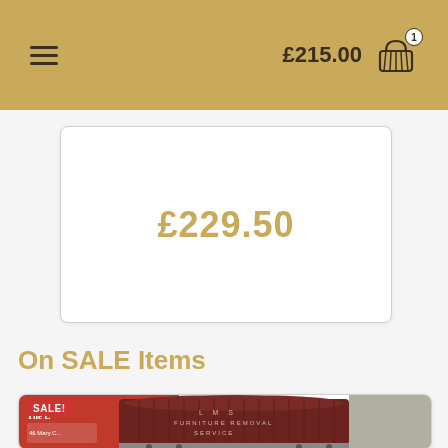£215.00
£229.50
On SALE Items
[Figure (photo): Model train wagon - LMS Furniture Removal Service van in dark maroon, with red packaging box in background. SALE! badge visible.]